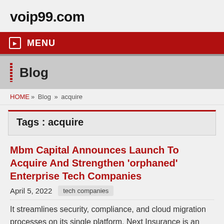voip99.com
MENU
Blog
HOME » Blog » acquire
Tags : acquire
Mbm Capital Announces Launch To Acquire And Strengthen 'orphaned' Enterprise Tech Companies
April 5, 2022   tech companies
It streamlines security, compliance, and cloud migration processes on its single platform. Next Insurance is an